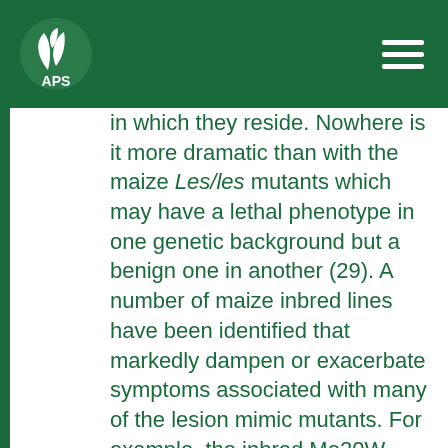APS
in which they reside. Nowhere is it more dramatic than with the maize Les/les mutants which may have a lethal phenotype in one genetic background but a benign one in another (29). A number of maize inbred lines have been identified that markedly dampen or exacerbate symptoms associated with many of the lesion mimic mutants. For example, the inbred Mo20W, which remains green for prolonged periods after fertilization, tends to suppress many Les/les mutants when introgressed into its genome (10,29,31). In contrast, many of these mimics express so severely in the inbred W23 background